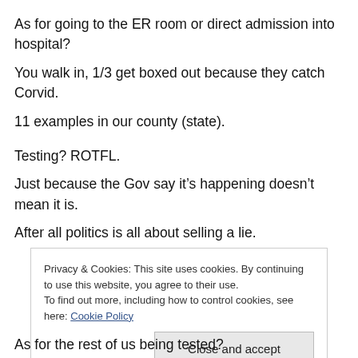As for going to the ER room or direct admission into hospital?
You walk in, 1/3 get boxed out because they catch Corvid.
11 examples in our county (state).
Testing? ROTFL.
Just because the Gov say it’s happening doesn’t mean it is.
After all politics is all about selling a lie.
Privacy & Cookies: This site uses cookies. By continuing to use this website, you agree to their use.
To find out more, including how to control cookies, see here: Cookie Policy
As for the rest of us being tested?